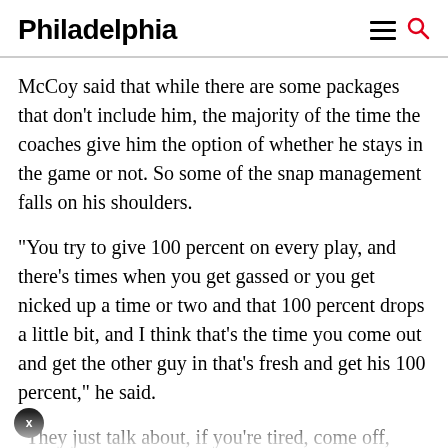Philadelphia
McCoy said that while there are some packages that don't include him, the majority of the time the coaches give him the option of whether he stays in the game or not. So some of the snap management falls on his shoulders.
“You try to give 100 percent on every play, and there’s times when you get gassed or you get nicked up a time or two and that 100 percent drops a little bit, and I think that’s the time you come out and get the other guy in that’s fresh and get his 100 percent,” he said.
“They just talk about, if you’re tired, come off, because the coach understands that it’s a fast tempo. We train hard and are in good enough shape to run the offense